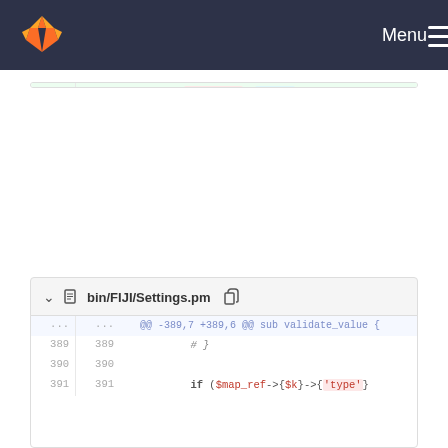[Figure (screenshot): GitLab navigation bar with fox logo and Menu button]
116  +  58 => ['0x80001', '0x63'],
117  +  59 => ['0x95'],
118  +  60 => ['0x3', '0x35'],
119  +  61 => ['0x27'],
120  +  62 => ['0x69'],
121  +  63 => ['0x3', '0x33'],
122  +  64 => ['0x1B'],
123  123  };
124  124
125  125  #** @var public %designmap Hash containing all FIJI::Settings
...  ...
bin/FIJI/Settings.pm
...  ...  @@ -389,7 +389,6 @@ sub validate_value {
389  389  # }
390  390
391  391  if ($map_ref->{$k}->{'type'}